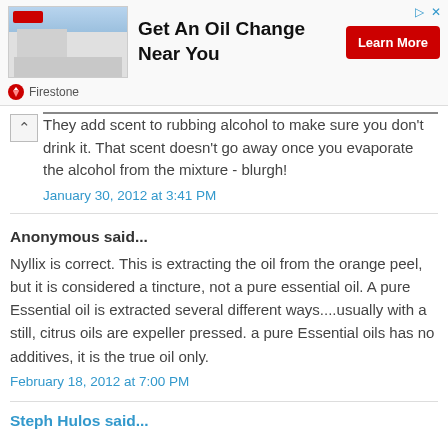[Figure (other): Firestone advertisement banner with building photo, text 'Get An Oil Change Near You', and a red 'Learn More' button]
They add scent to rubbing alcohol to make sure you don't drink it. That scent doesn't go away once you evaporate the alcohol from the mixture - blurgh!
January 30, 2012 at 3:41 PM
Anonymous said...
Nyllix is correct. This is extracting the oil from the orange peel, but it is considered a tincture, not a pure essential oil. A pure Essential oil is extracted several different ways....usually with a still, citrus oils are expeller pressed. a pure Essential oils has no additives, it is the true oil only.
February 18, 2012 at 7:00 PM
Steph Hulos said...